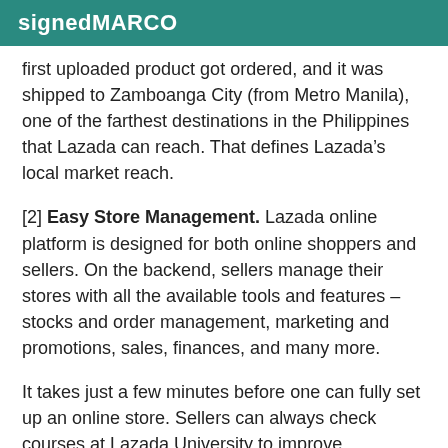signedMARCO
first uploaded product got ordered, and it was shipped to Zamboanga City (from Metro Manila), one of the farthest destinations in the Philippines that Lazada can reach. That defines Lazada’s local market reach.
[2] Easy Store Management. Lazada online platform is designed for both online shoppers and sellers. On the backend, sellers manage their stores with all the available tools and features – stocks and order management, marketing and promotions, sales, finances, and many more.
It takes just a few minutes before one can fully set up an online store. Sellers can always check courses at Lazada University to improve storefronts, sales, and general business operations.